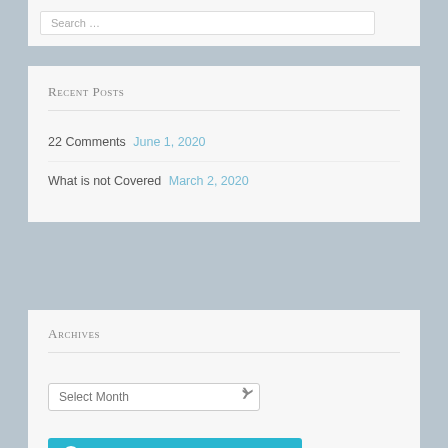Search …
Recent Posts
22 Comments June 1, 2020
What is not Covered March 2, 2020
Archives
Select Month
Follow Recycled: Found Narratives